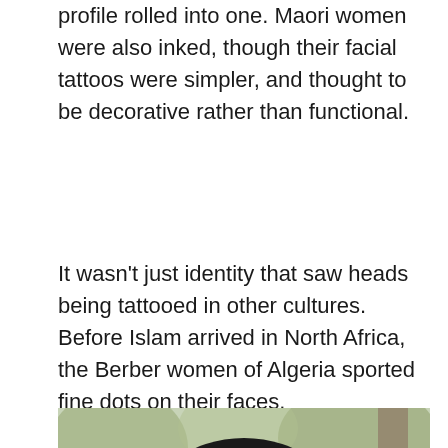profile rolled into one. Maori women were also inked, though their facial tattoos were simpler, and thought to be decorative rather than functional.
It wasn't just identity that saw heads being tattooed in other cultures. Before Islam arrived in North Africa, the Berber women of Algeria sported fine dots on their faces.
[Figure (photo): Close-up portrait of a woman wearing a colorful head wrap (black, yellow, and red patterned fabric) with traditional Berber facial tattoos visible on her forehead. The background shows a blurred outdoor scene.]